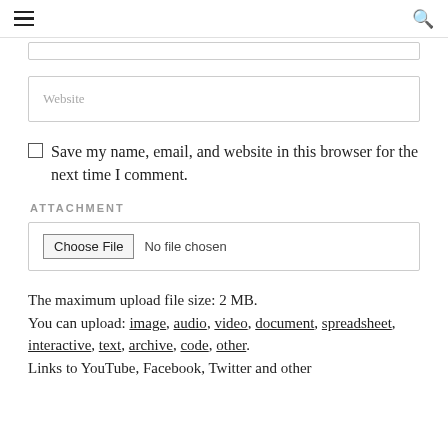≡  🔍
[Figure (screenshot): Website input text field with placeholder text 'Website']
☐ Save my name, email, and website in this browser for the next time I comment.
ATTACHMENT
[Figure (screenshot): File upload control with 'Choose File' button and 'No file chosen' label]
The maximum upload file size: 2 MB.
You can upload: image, audio, video, document, spreadsheet, interactive, text, archive, code, other.
Links to YouTube, Facebook, Twitter and other